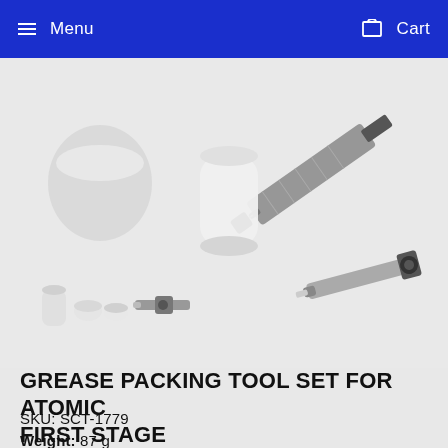Menu  Cart
[Figure (photo): Product photo of grease packing tool set for atomic first stage showing syringe, small white caps, and tool components on light gray background]
GREASE PACKING TOOL SET FOR ATOMIC FIRST STAGE
SKU: SCT-1779
Weight: 87 g